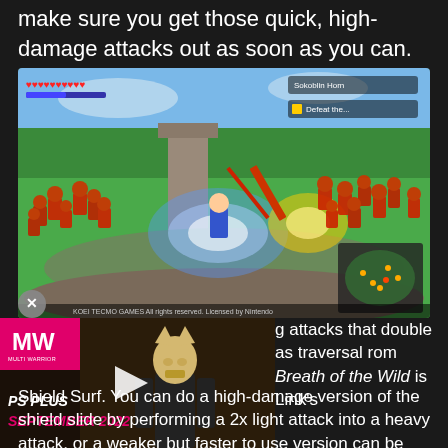make sure you get those quick, high-damage attacks out as soon as you can.
[Figure (screenshot): Hyrule Warriors: Age of Calamity gameplay screenshot showing Link fighting large groups of red Bokoblins in a green field environment. HUD elements visible including hearts and a map. Copyright notice: KOEI TECMO GAMES All rights reserved. Licensed by Nintendo]
[Figure (screenshot): Video thumbnail showing a character with an animal mask in a dark room. MW logo visible with PS Plus September 2022 overlay text. Play button visible.]
g attacks that double as traversal rom Breath of the Wild is Link's Shield Surf. You can do a high-damage version of the shield slide by performing a 2x light attack into a heavy attack, or a weaker but faster to use version can be used by getting Link into a run